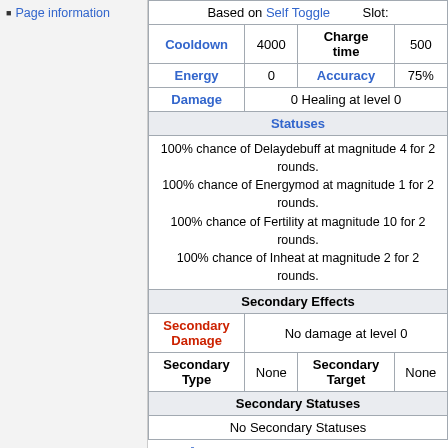Page information
| Based on Self Toggle |  | Slot: |
| Cooldown | 4000 | Charge time | 500 |
| Energy | 0 | Accuracy | 75% |
| Damage | 0 Healing at level 0 |
| Statuses |
| 100% chance of Delaydebuff at magnitude 4 for 2 rounds.
100% chance of Energymod at magnitude 1 for 2 rounds.
100% chance of Fertility at magnitude 10 for 2 rounds.
100% chance of Inheat at magnitude 2 for 2 rounds. |
| Secondary Effects |
| Secondary Damage | No damage at level 0 |
| Secondary Type | None | Secondary Target | None |
| Secondary Statuses |
| No Secondary Statuses |
notes